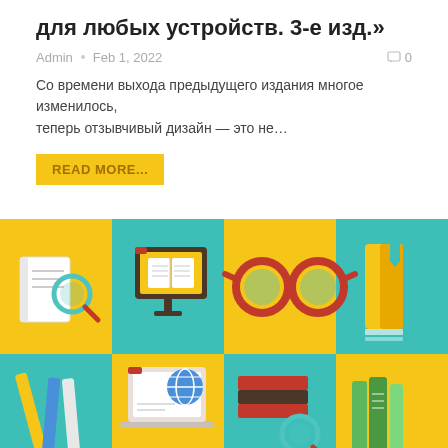для любых устройств. 3-е изд.»
Admin · Feb 1, 2022   🗨 0
Со времени выхода предыдущего издания многое изменилось, теперь отзывчивый дизайн — это не…
READ MORE...
[Figure (illustration): Colorful flat-design illustration grid with 8 icons on alternating yellow and teal squares: book with magnifying glass, monitor showing open book, glasses, yellow book, stack of books/pencils, laptop with globe, stacked books with magnifying glass, green books. Caption overlay: LATEST NEWS FROM... and a teal scroll button with arrow icon.]